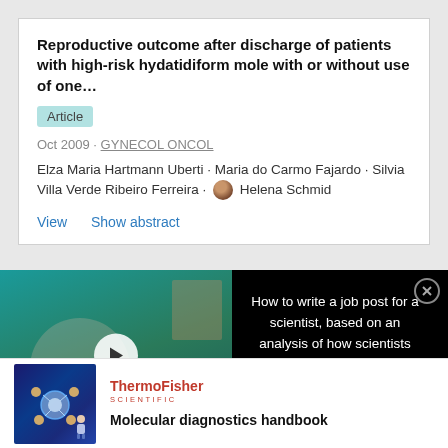Reproductive outcome after discharge of patients with high-risk hydatidiform mole with or without use of one…
Article
Oct 2009 · GYNECOL ONCOL
Elza Maria Hartmann Uberti · Maria do Carmo Fajardo · Silvia Villa Verde Ribeiro Ferreira · Helena Schmid
View    Show abstract
[Figure (screenshot): Video thumbnail showing a woman in an office setting with text overlay 'HOW TO WRITE A JOB POST FOR A SCIENTIST' with a play button]
How to write a job post for a scientist, based on an analysis of how scientists have engaged with 2-million job posts
[Figure (logo): ThermoFisher Scientific logo in red]
Molecular diagnostics handbook